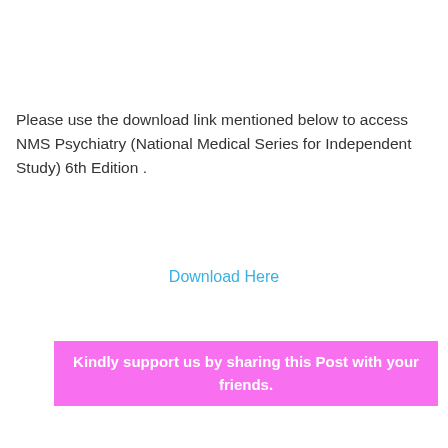Please use the download link mentioned below to access NMS Psychiatry (National Medical Series for Independent Study) 6th Edition .
Download Here
Kindly support us by sharing this Post with your friends.